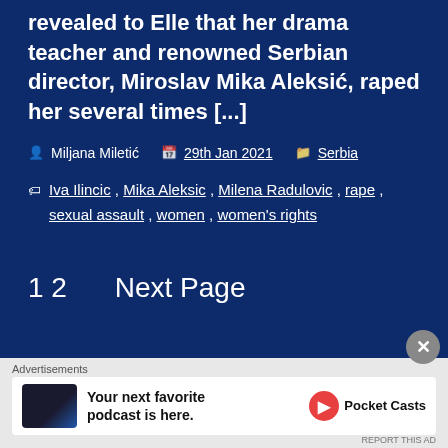revealed to Elle that her drama teacher and renowned Serbian director, Miroslav Mika Aleksić, raped her several times [...]
Miljana Miletić  29th Jan 2021  Serbia
Iva Ilincic, Mika Aleksic, Milena Radulovic, rape, sexual assault, women, women's rights
1  2  Next Page
[Figure (screenshot): Advertisement banner for Pocket Casts podcast app with text: Your next favorite podcast is here.]